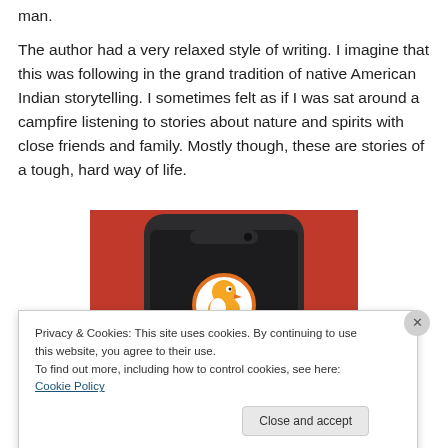man.
The author had a very relaxed style of writing. I imagine that this was following in the grand tradition of native American Indian storytelling. I sometimes felt as if I was sat around a campfire listening to stories about nature and spirits with close friends and family. Mostly though, these are stories of a tough, hard way of life.
[Figure (photo): A smartphone with dark frame displayed against an orange background, showing the DuckDuckGo duck logo on screen]
Privacy & Cookies: This site uses cookies. By continuing to use this website, you agree to their use.
To find out more, including how to control cookies, see here: Cookie Policy
Close and accept